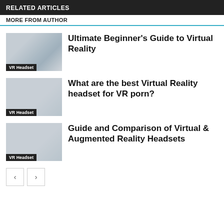RELATED ARTICLES
MORE FROM AUTHOR
[Figure (photo): Person wearing a VR headset, placeholder image]
VR Headset
Ultimate Beginner's Guide to Virtual Reality
[Figure (photo): Gray placeholder image for second article]
VR Headset
What are the best Virtual Reality headset for VR porn?
[Figure (photo): Gray placeholder image for third article]
VR Headset
Guide and Comparison of Virtual & Augmented Reality Headsets